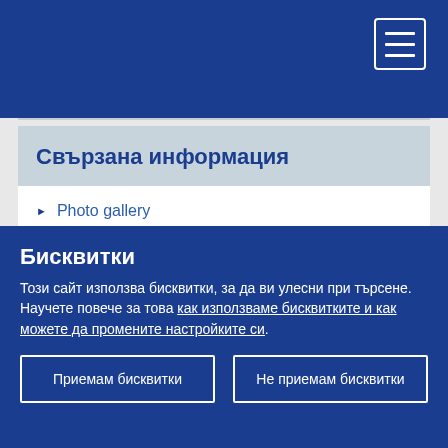Свързана информация
Photo gallery
Video summary
Карта на сайта
Бисквитки
Този сайт използва бисквитки, за да ви улесни при търсене. Научете повече за това как използваме бисквитките и как можете да промените настройките си.
Приемам бисквитки
Не приемам бисквитки